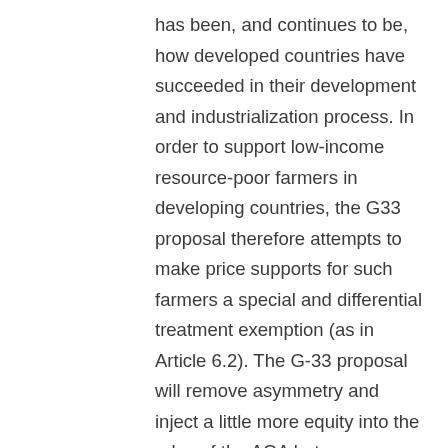has been, and continues to be, how developed countries have succeeded in their development and industrialization process. In order to support low-income resource-poor farmers in developing countries, the G33 proposal therefore attempts to make price supports for such farmers a special and differential treatment exemption (as in Article 6.2). The G-33 proposal will remove asymmetry and inject a little more equity into the rules of the AOA between developed and developing countries. Many developed countries like the U.S. and EU are providing decoupled income supports to their farmers under the Green Box which are not subject to any ceiling levels. They have not even decreased their overall supports by shifting their AMS supports to the Green Box. Developing countries that declared zero AMS are being told they have to maintain their zero AMS forever.